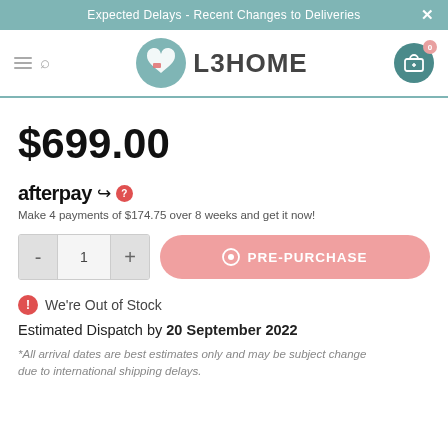Expected Delays - Recent Changes to Deliveries
[Figure (logo): L3HOME logo with teal heart/cloud icon and site navigation header]
$699.00
[Figure (logo): Afterpay logo with question mark icon]
Make 4 payments of $174.75 over 8 weeks and get it now!
- 1 +  PRE-PURCHASE
We're Out of Stock
Estimated Dispatch by 20 September 2022
*All arrival dates are best estimates only and may be subject change due to international shipping delays.